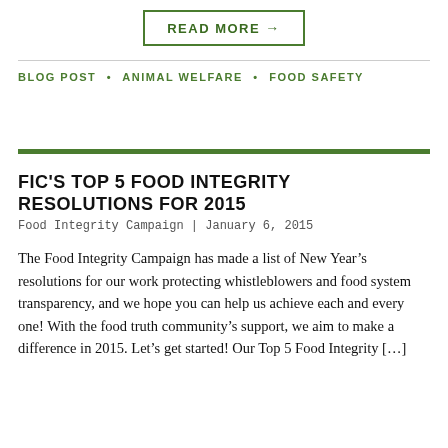READ MORE →
BLOG POST • ANIMAL WELFARE • FOOD SAFETY
FIC'S TOP 5 FOOD INTEGRITY RESOLUTIONS FOR 2015
Food Integrity Campaign | January 6, 2015
The Food Integrity Campaign has made a list of New Year's resolutions for our work protecting whistleblowers and food system transparency, and we hope you can help us achieve each and every one! With the food truth community's support, we aim to make a difference in 2015. Let's get started! Our Top 5 Food Integrity [...]